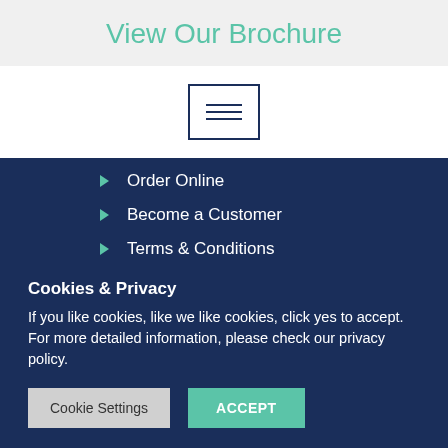View Our Brochure
[Figure (illustration): Brochure icon: a rectangular box with three horizontal lines inside, styled with a dark navy border on a white background.]
Order Online
Become a Customer
Terms & Conditions
Privacy Policy
Cookie Policy
Cookies & Privacy
If you like cookies, like we like cookies, click yes to accept. For more detailed information, please check our privacy policy.
Cookie Settings   ACCEPT